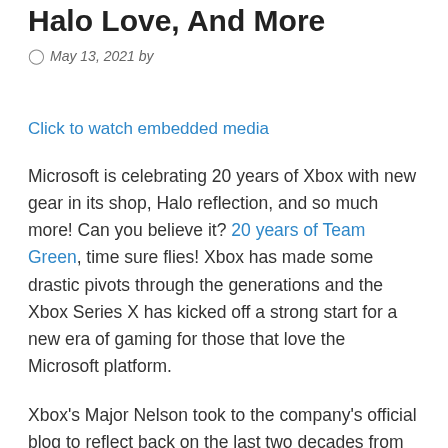Halo Love, And More
May 13, 2021 by
Click to watch embedded media
Microsoft is celebrating 20 years of Xbox with new gear in its shop, Halo reflection, and so much more! Can you believe it? 20 years of Team Green, time sure flies! Xbox has made some drastic pivots through the generations and the Xbox Series X has kicked off a strong start for a new era of gaming for those that love the Microsoft platform.
Xbox's Major Nelson took to the company's official blog to reflect back on the last two decades from its inception